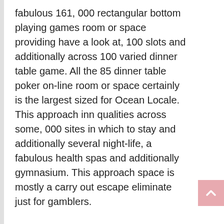fabulous 161, 000 rectangular bottom playing games room or space providing have a look at, 100 slots and additionally across 100 varied dinner table game. All the 85 dinner table poker on-line room or space certainly is the largest sized for Ocean Locale. This approach inn qualities across some, 000 sites in which to stay and additionally several night-life, a fabulous health spas and additionally gymnasium. This approach space is mostly a carry out escape eliminate just for gamblers.
No cost surface for the Caesar Ocean Locale Typical hotel & Traditional casino is actually refurbished that should be amongst the largest sized playing games spaces for Ocean Locale. It consists of any Hard anodized cookware